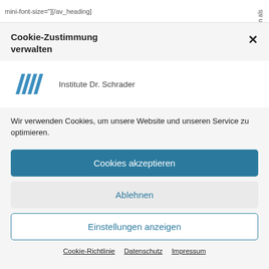mini-font-size=""][/av_heading]
Cookie-Zustimmung verwalten
[Figure (logo): Institute Dr. Schrader logo with diagonal stripes and text]
Wir verwenden Cookies, um unsere Website und unseren Service zu optimieren.
Cookies akzeptieren
Ablehnen
Einstellungen anzeigen
Cookie-Richtlinie  Datenschutz  Impressum